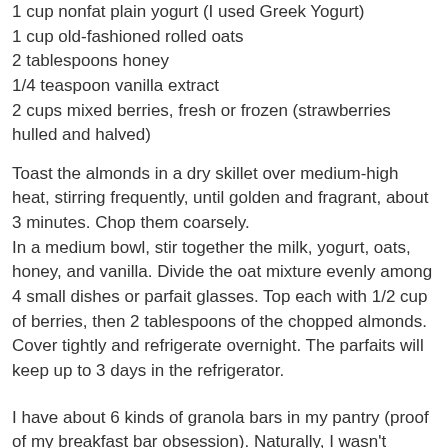1 cup nonfat plain yogurt (I used Greek Yogurt)
1 cup old-fashioned rolled oats
2 tablespoons honey
1/4 teaspoon vanilla extract
2 cups mixed berries, fresh or frozen (strawberries hulled and halved)
Toast the almonds in a dry skillet over medium-high heat, stirring frequently, until golden and fragrant, about 3 minutes. Chop them coarsely.
In a medium bowl, stir together the milk, yogurt, oats, honey, and vanilla. Divide the oat mixture evenly among 4 small dishes or parfait glasses. Top each with 1/2 cup of berries, then 2 tablespoons of the chopped almonds. Cover tightly and refrigerate overnight. The parfaits will keep up to 3 days in the refrigerator.
I have about 6 kinds of granola bars in my pantry (proof of my breakfast bar obsession). Naturally, I wasn't hungry for any of those bars and quite frankly, they probably aren't very healthy anyway. I decided to make Ellie's Walnut and Dried Cherry Bars. I have been wanting to make these bars for a